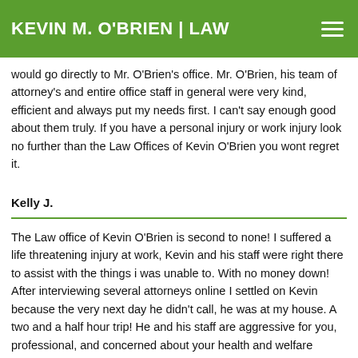KEVIN M. O'BRIEN | LAW
would go directly to Mr. O'Brien's office. Mr. O'Brien, his team of attorney's and entire office staff in general were very kind, efficient and always put my needs first. I can't say enough good about them truly. If you have a personal injury or work injury look no further than the Law Offices of Kevin O'Brien you wont regret it.
Kelly J.
The Law office of Kevin O'Brien is second to none! I suffered a life threatening injury at work, Kevin and his staff were right there to assist with the things i was unable to. With no money down! After interviewing several attorneys online I settled on Kevin because the very next day he didn't call, he was at my house. A two and a half hour trip! He and his staff are aggressive for you, professional, and concerned about your health and welfare